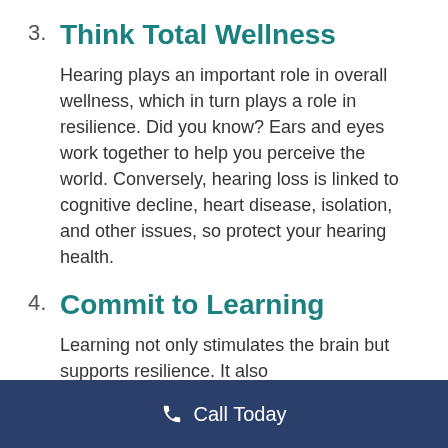3. Think Total Wellness
Hearing plays an important role in overall wellness, which in turn plays a role in resilience. Did you know? Ears and eyes work together to help you perceive the world. Conversely, hearing loss is linked to cognitive decline, heart disease, isolation, and other issues, so protect your hearing health.
4. Commit to Learning
Learning not only stimulates the brain but supports resilience. It also
Call Today